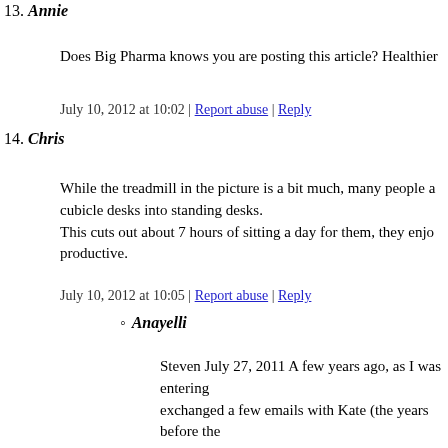13. Annie
Does Big Pharma knows you are posting this article? Healthier
July 10, 2012 at 10:02 | Report abuse | Reply
14. Chris
While the treadmill in the picture is a bit much, many people a cubicle desks into standing desks.
This cuts out about 7 hours of sitting a day for them, they enjo productive.
July 10, 2012 at 10:05 | Report abuse | Reply
Anayelli
Steven July 27, 2011 A few years ago, as I was entering exchanged a few emails with Kate (the years before the out why she'd emailed me, as we didn't have a lot in con recently separated, I didn't think too much about it. *An one I'd left.At the time, though, she lived in Everett, and figure that was too far, especially since I was in Burien. meeting her.Recently, though, I came across her olinne p scene), but decided against emailing her. (1) I don't think just to find out whether she's open about her blog. (2) In afraid she might say no.' (I'm not very flirty in email, wh